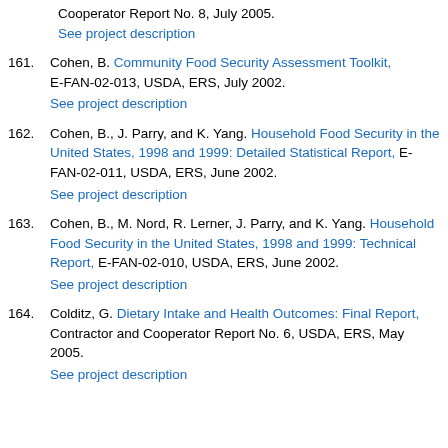Cooperator Report No. 8, July 2005. See project description
161. Cohen, B. Community Food Security Assessment Toolkit, E-FAN-02-013, USDA, ERS, July 2002. See project description
162. Cohen, B., J. Parry, and K. Yang. Household Food Security in the United States, 1998 and 1999: Detailed Statistical Report, E-FAN-02-011, USDA, ERS, June 2002. See project description
163. Cohen, B., M. Nord, R. Lerner, J. Parry, and K. Yang. Household Food Security in the United States, 1998 and 1999: Technical Report, E-FAN-02-010, USDA, ERS, June 2002. See project description
164. Colditz, G. Dietary Intake and Health Outcomes: Final Report, Contractor and Cooperator Report No. 6, USDA, ERS, May 2005. See project description